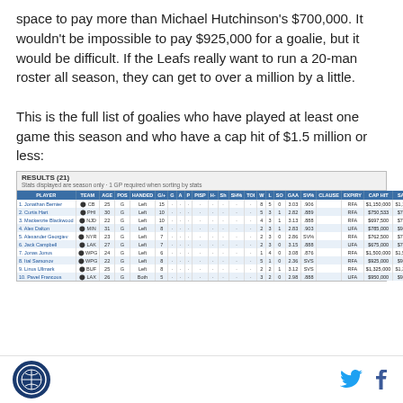space to pay more than Michael Hutchinson's $700,000. It wouldn't be impossible to pay $925,000 for a goalie, but it would be difficult. If the Leafs really want to run a 20-man roster all season, they can get to over a million by a little.
This is the full list of goalies who have played at least one game this season and who have a cap hit of $1.5 million or less:
| PLAYER | TEAM | AGE | POS | HANDED | G/+ | G | A | P | PISP | H- | Sh | SH% | TOI | W | L | SO | GAA | SV% | CLAUSE | EXPIRY | CAP HIT | SALARY |
| --- | --- | --- | --- | --- | --- | --- | --- | --- | --- | --- | --- | --- | --- | --- | --- | --- | --- | --- | --- | --- | --- | --- |
| 1. Jonathan Bernier | CB | 25 | G | Left | 15 | · | · | · | · | · | · | · | · | 8 | 5 | 0 | 3.03 | .906 |  | RFA | $1,150,000 | $1,150,000 |
| 2. Curtis Hart | PHI | 30 | G | Left | 10 | · | · | · | · | · | · | · | · | 5 | 3 | 1 | 2.82 | .889 |  | RFA | $750,533 | $700,000 |
| 3. Mackenzie Blackwood | NJD | 22 | G | Left | 10 | · | · | · | · | · | · | · | · | 4 | 3 | 1 | 3.13 | .888 |  | RFA | $697,500 | $700,000 |
| 4. Alex Dalton | MIN | 31 | G | Left | 8 | · | · | · | · | · | · | · | · | 2 | 3 | 1 | 2.83 | .903 |  | UFA | $785,000 | $905,000 |
| 5. Alexander Georgiev | NYR | 23 | G | Left | 7 | · | · | · | · | · | · | · | · | 2 | 3 | 0 | 2.86 | SV% |  | RFA | $762,500 | $762,500 |
| 6. Jack Campbell | LAK | 27 | G | Left | 7 | · | · | · | · | · | · | · | · | 2 | 3 | 0 | 3.15 | .888 |  | UFA | $675,000 | $700,000 |
| 7. Jonas Jonus | WPG | 24 | G | Left | 6 | · | · | · | · | · | · | · | · | 1 | 4 | 0 | 3.08 | .876 |  | RFA | $1,500,000 | $1,500,000 |
| 8. Ital Samonov | WPG | 22 | G | Left | 8 | · | · | · | · | · | · | · | · | 5 | 1 | 0 | 2.36 | SVS |  | RFA | $925,000 | $905,000 |
| 9. Linus Ullmark | BUF | 25 | G | Left | 8 | · | · | · | · | · | · | · | · | 2 | 2 | 1 | 3.12 | SVS |  | RFA | $1,325,000 | $1,325,000 |
| 10. Pavel Francous | LAX | 26 | G | Both | 5 | · | · | · | · | · | · | · | · | 3 | 2 | 0 | 2.98 | .888 |  | UFA | $950,000 | $950,000 |
Logo | Twitter | Facebook